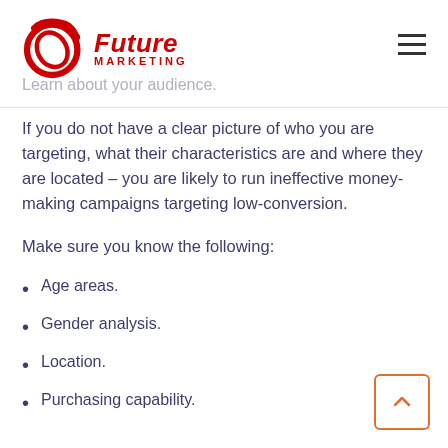[Figure (logo): Future Marketing logo with red circular swoosh icon and red bold text 'Future MARKETING']
Learn about your audience.
If you do not have a clear picture of who you are targeting, what their characteristics are and where they are located – you are likely to run ineffective money-making campaigns targeting low-conversion.
Make sure you know the following:
Age areas.
Gender analysis.
Location.
Purchasing capability.